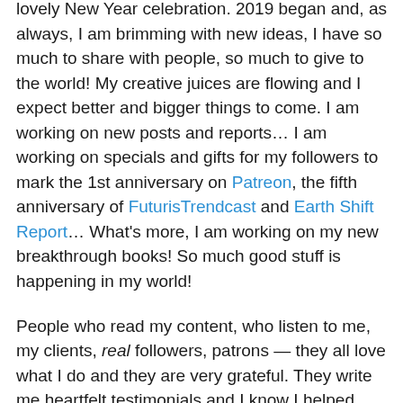lovely New Year celebration. 2019 began and, as always, I am brimming with new ideas, I have so much to share with people, so much to give to the world! My creative juices are flowing and I expect better and bigger things to come. I am working on new posts and reports… I am working on specials and gifts for my followers to mark the 1st anniversary on Patreon, the fifth anniversary of FuturisTrendcast and Earth Shift Report… What's more, I am working on my new breakthrough books! So much good stuff is happening in my world!
People who read my content, who listen to me, my clients, real followers, patrons — they all love what I do and they are very grateful. They write me heartfelt testimonials and I know I helped them. And this makes me truly happy!
As a result, generating this nice content requires...